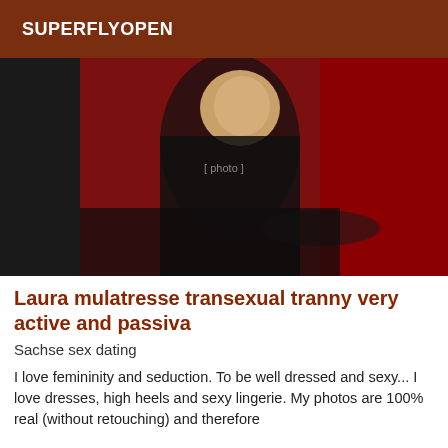SUPERFLYOPEN
[Figure (photo): Woman posing in black sheer outfit against a red background, sitting on the floor]
Laura mulatresse transexual tranny very active and passiva
Sachse sex dating
I love femininity and seduction. To be well dressed and sexy... I love dresses, high heels and sexy lingerie. My photos are 100% real (without retouching) and therefore